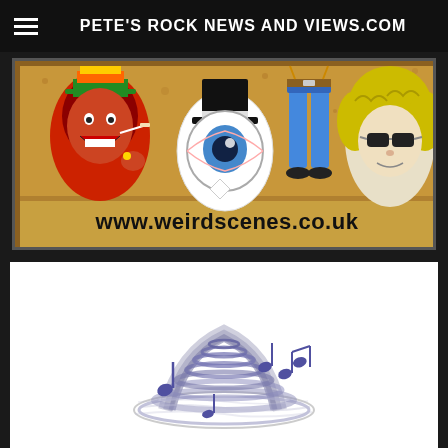PETE'S ROCK NEWS AND VIEWS.COM
[Figure (photo): Colorful cartoon/illustrated pin badges on a cork board background showing various rock characters including a laughing figure, a top hat with an eyeball, a figure in blue jeans, and a curly-haired rock star face wearing sunglasses. Text below reads www.weirdscenes.co.uk]
[Figure (illustration): Illustrated whirlwind/tornado with purple musical notes swirling around it on a white background]